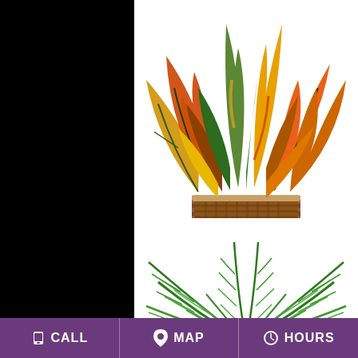[Figure (photo): Croton plant in a woven brown basket with colorful orange, yellow, red, and green foliage, displayed on a white background]
CROTON PLANT BASKET    $65.00
BUY NOW
[Figure (photo): Green fern-like plant with long feathery fronds displayed on a white background]
CALL   MAP   HOURS